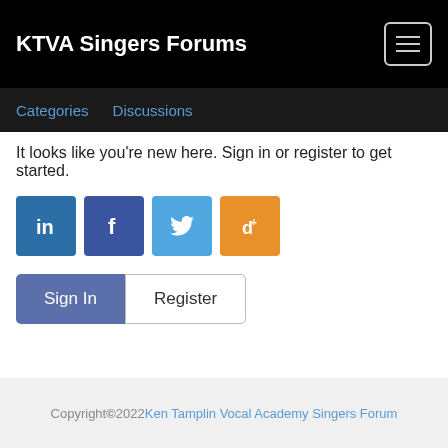KTVA Singers Forums
Categories   Discussions
It looks like you're new here. Sign in or register to get started.
[Figure (other): Social login buttons: LinkedIn, Facebook, Twitter, TikTok]
Sign In   Register
Copyright © 2022 Ken Tamplin Vocal Academy Singers Forum